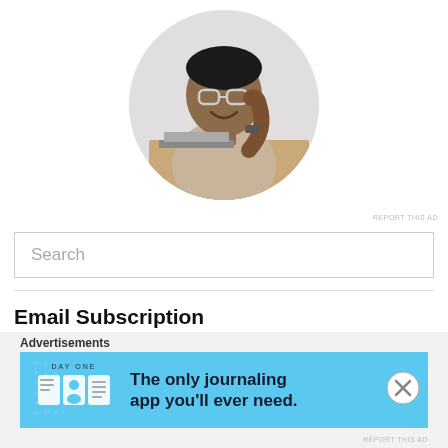[Figure (photo): Circular profile photo of a smiling man with glasses and beard, wearing a beige t-shirt, sitting at a desk with a laptop]
REPORT THIS AD
Search
Email Subscription
Enter your email address to subscribe to this blog and receive
Advertisements
[Figure (illustration): Day One journaling app advertisement banner with blue background showing app icons and text: The only journaling app you'll ever need.]
REPORT THIS AD